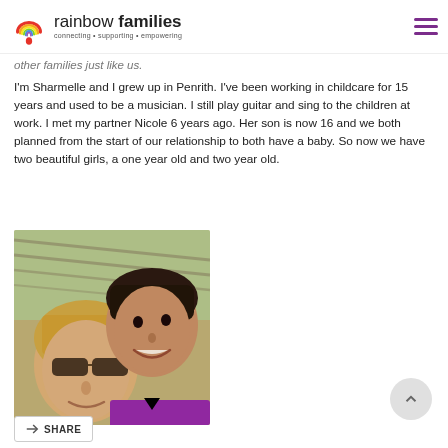rainbow families · connecting · supporting · empowering
other families just like us.
I'm Sharmelle and I grew up in Penrith. I've been working in childcare for 15 years and used to be a musician. I still play guitar and sing to the children at work. I met my partner Nicole 6 years ago. Her son is now 16 and we both planned from the start of our relationship to both have a baby. So now we have two beautiful girls, a one year old and two year old.
[Figure (photo): Two women taking a selfie outdoors under a structure. One woman has blonde hair and sunglasses, the other has short dark hair and is wearing a purple polo shirt.]